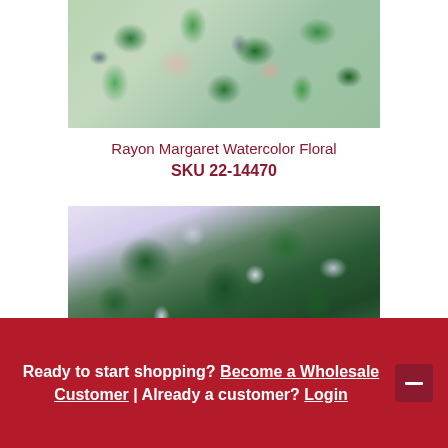[Figure (photo): Close-up of Rayon Margaret Watercolor Floral fabric with green floral and leaf patterns on a light pink/peach background with gray-blue accents]
Rayon Margaret Watercolor Floral
SKU 22-14470
[Figure (photo): Close-up of a dark green and white paisley/mandala patterned fabric on a light lavender background]
Ready to start shopping? Become a Wholesale Customer | Already a customer? Login